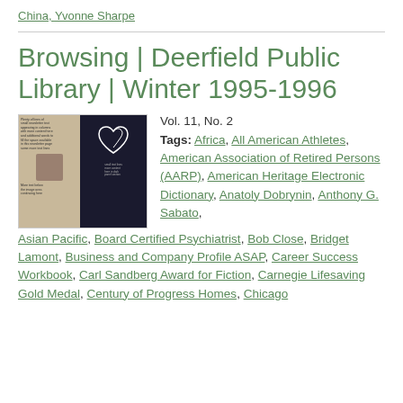China, Yvonne Sharpe
Browsing | Deerfield Public Library | Winter 1995-1996
[Figure (photo): Thumbnail image of a newsletter or magazine page with text columns on the left (beige/tan background) and a dark panel on the right featuring a white heart/loop graphic]
Vol. 11, No. 2
Tags: Africa, All American Athletes, American Association of Retired Persons (AARP), American Heritage Electronic Dictionary, Anatoly Dobrynin, Anthony G. Sabato, Asian Pacific, Board Certified Psychiatrist, Bob Close, Bridget Lamont, Business and Company Profile ASAP, Career Success Workbook, Carl Sandberg Award for Fiction, Carnegie Lifesaving Gold Medal, Century of Progress Homes, Chicago ...